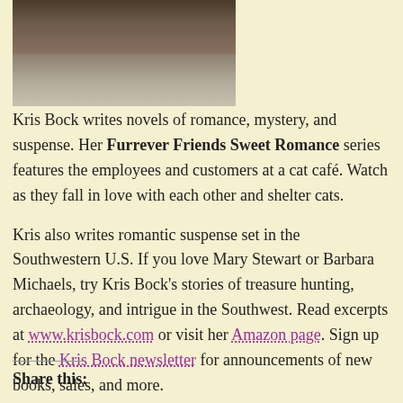[Figure (photo): Partial photo of a person or animal, cropped at top]
Kris Bock writes novels of romance, mystery, and suspense. Her Furrever Friends Sweet Romance series features the employees and customers at a cat café. Watch as they fall in love with each other and shelter cats.
Kris also writes romantic suspense set in the Southwestern U.S. If you love Mary Stewart or Barbara Michaels, try Kris Bock's stories of treasure hunting, archaeology, and intrigue in the Southwest. Read excerpts at www.krisbock.com or visit her Amazon page. Sign up for the Kris Bock newsletter for announcements of new books, sales, and more.
Share this: